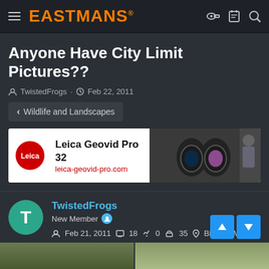EASTMANS
Anyone Have City Limit Pictures??
TwistedFrogs · Feb 22, 2011
< Wildlife and Landscapes
[Figure (other): Leica Geovid Pro 32 advertisement banner with Leica logo, product text, URL leica-geovid-pro.com, binoculars image, and hunter using binoculars]
TwistedFrogs
New Member
Feb 21, 2011  18  0  35  Billings, MT
Feb 22, 2011